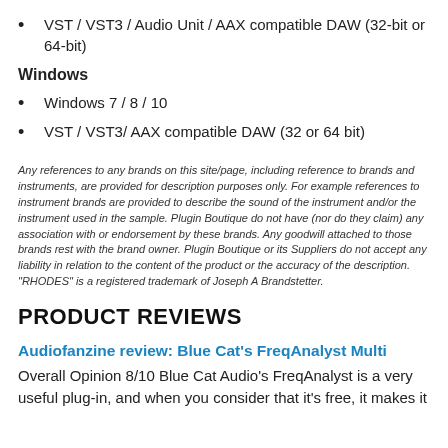VST / VST3 / Audio Unit / AAX compatible DAW (32-bit or 64-bit)
Windows
Windows 7 / 8 / 10
VST / VST3/ AAX compatible DAW (32 or 64 bit)
Any references to any brands on this site/page, including reference to brands and instruments, are provided for description purposes only. For example references to instrument brands are provided to describe the sound of the instrument and/or the instrument used in the sample. Plugin Boutique do not have (nor do they claim) any association with or endorsement by these brands. Any goodwill attached to those brands rest with the brand owner. Plugin Boutique or its Suppliers do not accept any liability in relation to the content of the product or the accuracy of the description. "RHODES" is a registered trademark of Joseph A Brandstetter.
PRODUCT REVIEWS
Audiofanzine review: Blue Cat's FreqAnalyst Multi
Overall Opinion 8/10 Blue Cat Audio's FreqAnalyst is a very useful plug-in, and when you consider that it's free, it makes it